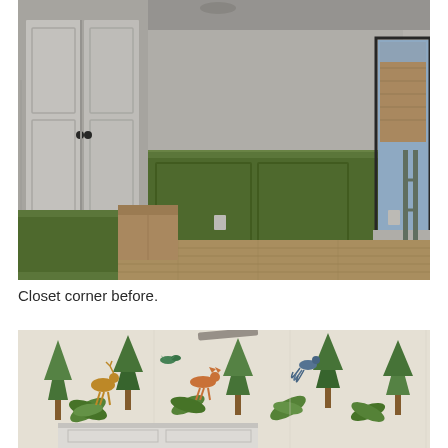[Figure (photo): Interior room before renovation: white closet doors with black handles on the left, green wainscoting with panel trim on the lower half of the far wall, hardwood floors, a window with natural light on the right showing a brick exterior, a cardboard box on the floor, and what appears to be construction scaffolding near the window.]
Closet corner before.
[Figure (photo): Partial view of a room after renovation showing wallpaper with a nature/animal pattern (birds, deer, foxes, trees, ferns) on a cream background, with white wainscoting visible at the bottom and a ceiling fan blade visible at the top.]